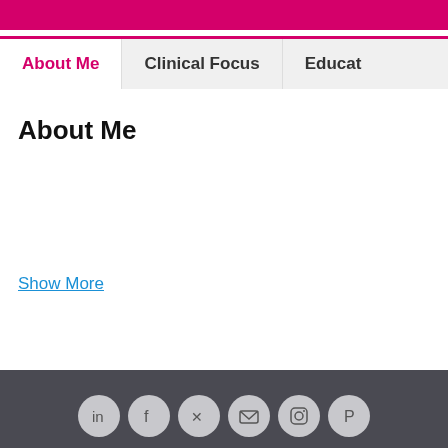About Me | Clinical Focus | Educat
About Me
Show More
Social media icons: LinkedIn, Facebook, Twitter, Email, Instagram, Pinterest